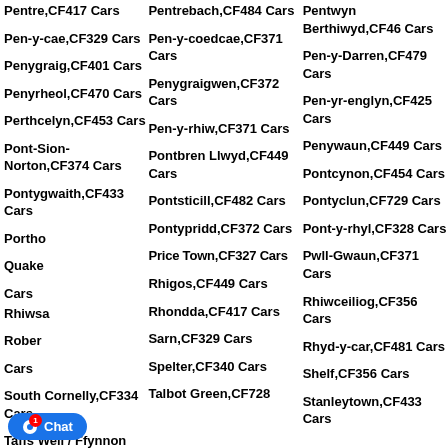Pentre,CF417 Cars
Pentrebach,CF484 Cars
Pentwyn Berthiwyd,CF46 Cars
Pen-y-cae,CF329 Cars
Pen-y-coedcae,CF371 Cars
Pen-y-Darren,CF479 Cars
Penygraig,CF401 Cars
Penygraigwen,CF372 Cars
Pen-yr-englyn,CF425 Cars
Penyrheol,CF470 Cars
Pen-y-rhiw,CF371 Cars
Penywaun,CF449 Cars
Perthcelyn,CF453 Cars
Pontbren Llwyd,CF449 Cars
Pontcynon,CF454 Cars
Pont-Sion-Norton,CF374 Cars
Pontsticill,CF482 Cars
Pontyclun,CF729 Cars
Pontygwaith,CF433 Cars
Pontypridd,CF372 Cars
Pont-y-rhyl,CF328 Cars
Porthc... Cars
Price Town,CF327 Cars
Pwll-Gwaun,CF371 Cars
Quake... Cars
Rhigos,CF449 Cars
Rhiwceiliog,CF356 Cars
Rhiws... rs
Rhondda,CF417 Cars
Rhyd-y-car,CF481 Cars
Rober... Cars
Sarn,CF329 Cars
Shelf,CF356 Cars
South Cornelly,CF334 Cars
Spelter,CF340 Cars
Stanleytown,CF433 Cars
Taffs Well / Ffynnon...
Talbot Green,CF728...